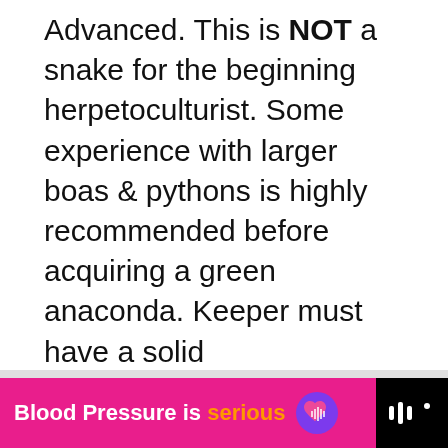Advanced. This is NOT a snake for the beginning herpetoculturist. Some experience with larger boas & pythons is highly recommended before acquiring a green anaconda. Keeper must have a solid understanding of husbandry requirements in order to successfully maintain this species for any length of time.
[Figure (other): Like/heart button (blue circle with heart icon) with count 2, and share button below]
[Figure (other): What's Next card showing a thumbnail image for Snakes in Oklahoma article]
[Figure (other): Advertisement banner: black background on right, pink background on left with text 'Blood Pressure is serious' and a purple heart logo]